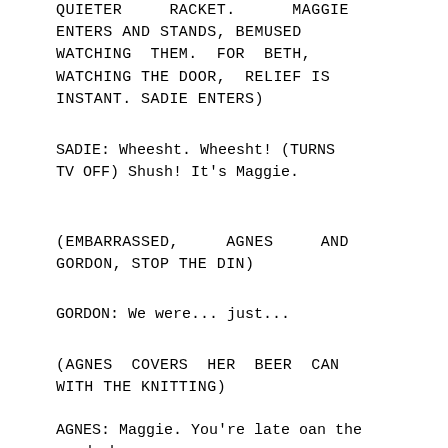QUIETER RACKET. MAGGIE ENTERS AND STANDS, BEMUSED WATCHING THEM. FOR BETH, WATCHING THE DOOR, RELIEF IS INSTANT. SADIE ENTERS)
SADIE: Wheesht. Wheesht! (TURNS TV OFF) Shush! It's Maggie.
(EMBARRASSED, AGNES AND GORDON, STOP THE DIN)
GORDON: We were... just...
(AGNES COVERS HER BEER CAN WITH THE KNITTING)
AGNES: Maggie. You're late oan the road, hen.